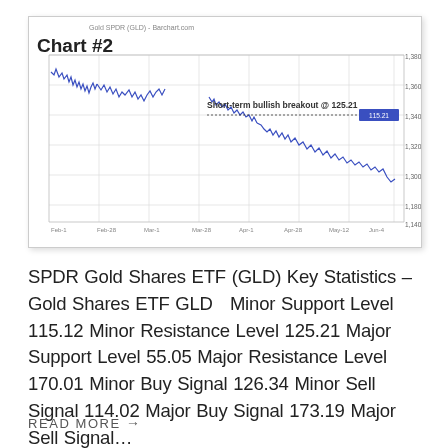[Figure (continuous-plot): Stock price candlestick/line chart for Gold SPDR (GLD) from Barchart.com showing a downward trend with annotation 'Short-term bullish breakout @ 125.21'. Chart labeled 'Chart #2'. Y-axis ranges approximately 114 to 133. X-axis shows dates from Feb to Jun.]
SPDR Gold Shares ETF (GLD) Key Statistics – Gold Shares ETF GLD   Minor Support Level 115.12 Minor Resistance Level 125.21 Major Support Level 55.05 Major Resistance Level 170.01 Minor Buy Signal 126.34 Minor Sell Signal 114.02 Major Buy Signal 173.19 Major Sell Signal…
READ MORE →